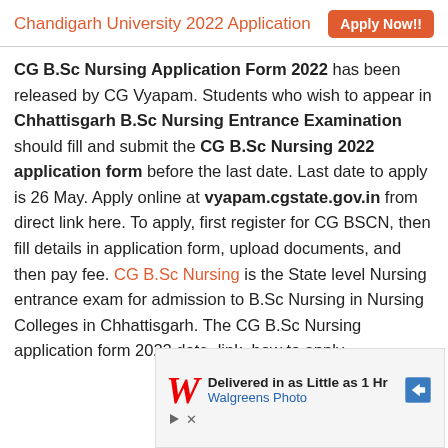Chandigarh University 2022 Application   Apply Now!!
CG B.Sc Nursing Application Form 2022 has been released by CG Vyapam. Students who wish to appear in Chhattisgarh B.Sc Nursing Entrance Examination should fill and submit the CG B.Sc Nursing 2022 application form before the last date. Last date to apply is 26 May. Apply online at vyapam.cgstate.gov.in from direct link here. To apply, first register for CG BSCN, then fill details in application form, upload documents, and then pay fee. CG B.Sc Nursing is the State level Nursing entrance exam for admission to B.Sc Nursing in Nursing Colleges in Chhattisgarh. The CG B.Sc Nursing application form 2022 date, link, how to apply,
[Figure (other): Walgreens Photo advertisement banner: Delivered in as Little as 1 Hr, Walgreens Photo, with navigation arrow icon]